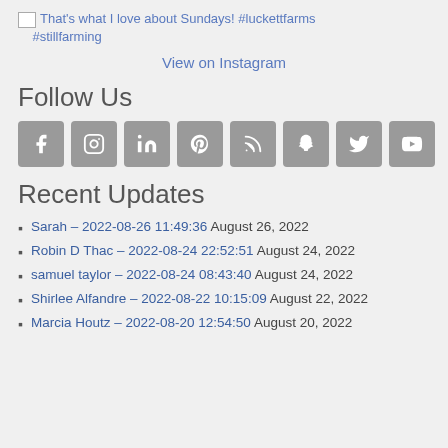[broken image] That's what I love about Sundays! #luckettfarms #stillfarming
View on Instagram
Follow Us
[Figure (infographic): Row of 8 social media icon buttons (Facebook, Instagram, LinkedIn, Pinterest, RSS, Snapchat, Twitter, YouTube) as grey rounded squares with white icons]
Recent Updates
Sarah – 2022-08-26 11:49:36 August 26, 2022
Robin D Thac – 2022-08-24 22:52:51 August 24, 2022
samuel taylor – 2022-08-24 08:43:40 August 24, 2022
Shirlee Alfandre – 2022-08-22 10:15:09 August 22, 2022
Marcia Houtz – 2022-08-20 12:54:50 August 20, 2022